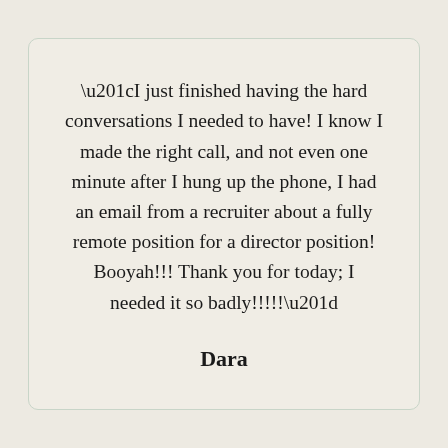“I just finished having the hard conversations I needed to have! I know I made the right call, and not even one minute after I hung up the phone, I had an email from a recruiter about a fully remote position for a director position! Booyah!!! Thank you for today; I needed it so badly!!!!!”
Dara